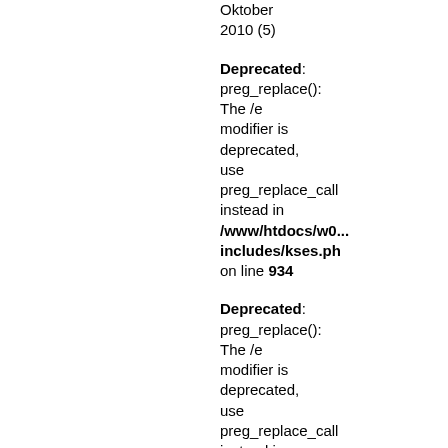Oktober 2010 (5)
Deprecated: preg_replace(): The /e modifier is deprecated, use preg_replace_callback() instead in /www/htdocs/w0.../includes/kses.php on line 934
Deprecated: preg_replace(): The /e modifier is deprecated, use preg_replace_callback() instead in /www/htdocs/w0.../includes/kses.php on line 935
September 2010 (4)
Deprecated: